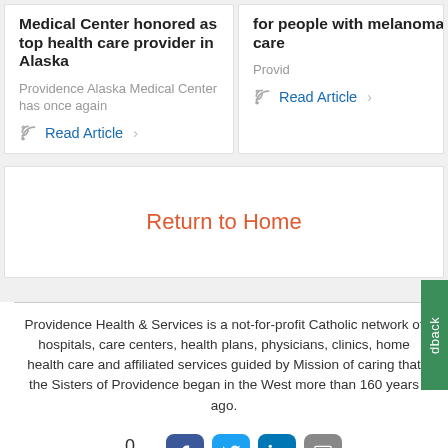Medical Center honored as top health care provider in Alaska
Providence Alaska Medical Center has once again
Read Article
for people with melanoma offers updates on advan care
Provid
Read Article
Return to Home
Providence Health & Services is a not-for-profit Catholic network of hospitals, care centers, health plans, physicians, clinics, home health care and affiliated services guided by Mission of caring that the Sisters of Providence began in the West more than 160 years ago.
0 SHARES